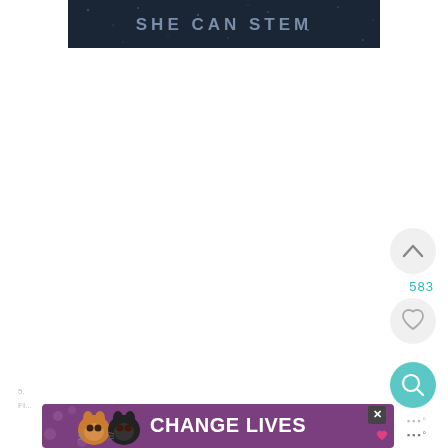[Figure (screenshot): Dark navy banner with text SHE CAN STEM in faded gray-blue capital letters with letter-spacing]
[Figure (screenshot): UI interaction buttons: upvote chevron circle button, count label 583, heart/like circle button, teal search magnifier circle button, and progress dots]
[Figure (screenshot): Bottom advertisement banner with purple background showing two cats (tabby and black) and text CHANGE LIVES with a close X button and a small heart icon]